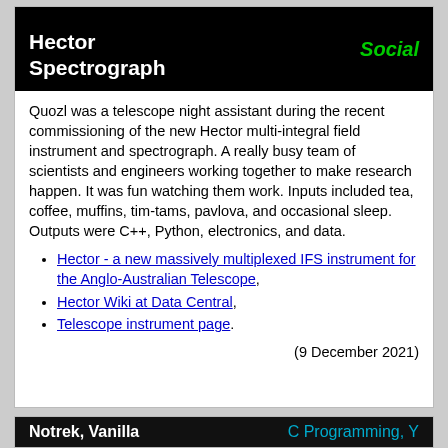Hector Spectrograph
Social
Quozl was a telescope night assistant during the recent commissioning of the new Hector multi-integral field instrument and spectrograph. A really busy team of scientists and engineers working together to make research happen. It was fun watching them work. Inputs included tea, coffee, muffins, tim-tams, pavlova, and occasional sleep. Outputs were C++, Python, electronics, and data.
Hector - a new massively multiplexed IFS instrument for the Anglo-Australian Telescope,
Hector Wiki at Data Central,
Telescope instrument page.
(9 December 2021)
Notrek, Vanilla
C Programming, Y